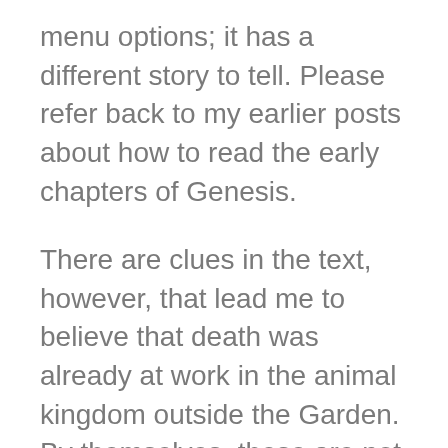menu options; it has a different story to tell. Please refer back to my earlier posts about how to read the early chapters of Genesis.
There are clues in the text, however, that lead me to believe that death was already at work in the animal kingdom outside the Garden. By themselves, these are not very load-bearing, but when you put them together they open the door to the possibility of death at work before the Fall.